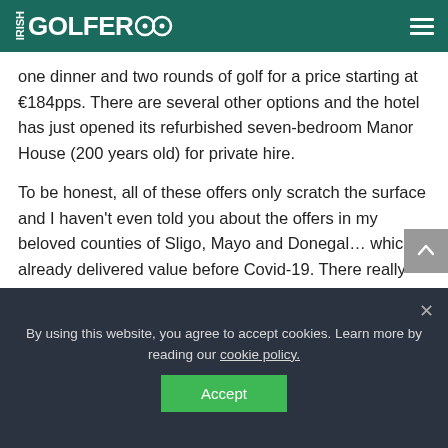IRISH GOLFER
one dinner and two rounds of golf for a price starting at €184pps. There are several other options and the hotel has just opened its refurbished seven-bedroom Manor House (200 years old) for private hire.
To be honest, all of these offers only scratch the surface and I haven't even told you about the offers in my beloved counties of Sligo, Mayo and Donegal... which already delivered value before Covid-19. There really hasn't been a better time to go and explore Ireland and Ireland's golf courses. Go. Enjoy.
By using this website, you agree to accept cookies. Learn more by reading our cookie policy.